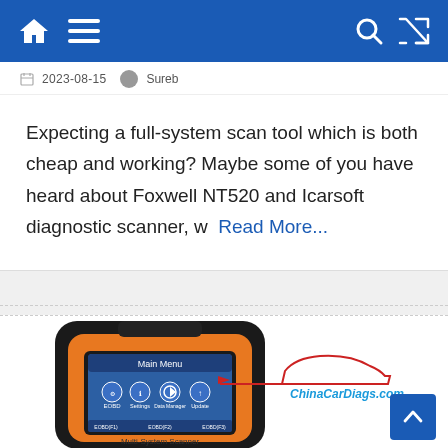Navigation header with home, menu, search, and shuffle icons
2023-08-15   Sureb
Expecting a full-system scan tool which is both cheap and working? Maybe some of you have heard about Foxwell NT520 and Icarsoft diagnostic scanner, w   Read More...
[Figure (photo): Foxwell Multi-System Scanner product photo showing a handheld diagnostic scanner with orange and black casing, featuring a touchscreen display showing Main Menu with EOBD, Settings, Data Manager, and Update icons. ChinaCarDiags.com watermark visible in red.]